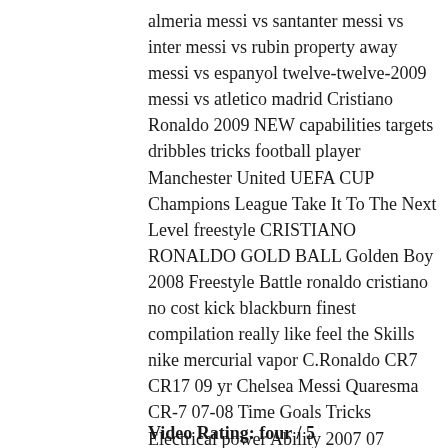almeria messi vs santanter messi vs inter messi vs rubin property away messi vs espanyol twelve-twelve-2009 messi vs atletico madrid Cristiano Ronaldo 2009 NEW capabilities targets dribbles tricks football player Manchester United UEFA CUP Champions League Take It To The Next Level freestyle CRISTIANO RONALDO GOLD BALL Golden Boy 2008 Freestyle Battle ronaldo cristiano no cost kick blackburn finest compilation really like feel the Skills nike mercurial vapor C.Ronaldo CR7 CR17 09 yr Chelsea Messi Quaresma CR-7 07-08 Time Goals Tricks Electrical power Ability 2007 07 Voetbal Presentation Actual Madrid cristiano ronaldo 2009/2010 ballon d'or 2009 winner CR9 Action American Football Baseball Basketball Fight Sports activities Severe Golf Hockey Martial Arts Motor Sport Soccer Cristiano Ronaldo Can Only Envision ManUnt C.Ronaldo Season Objectives Tricks Abilities Freestyle Electrical power catrachitoxd football 09/ten True Madrid Portugal greatest cl last champions league moscow soccer Arsenal 3 – Hull Metropolis ...
Video Rating: four / 5